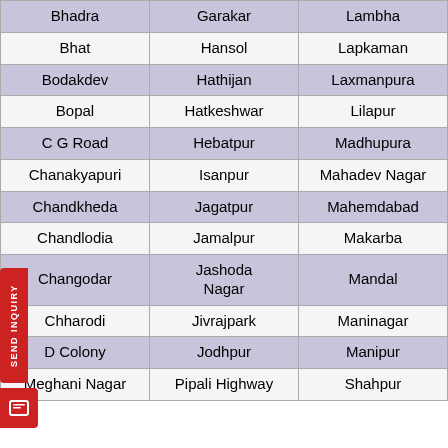| (col1) | (col2) | (col3) |
| --- | --- | --- |
| Bhadra | Garakar | Lambha |
| Bhat | Hansol | Lapkaman |
| Bodakdev | Hathijan | Laxmanpura |
| Bopal | Hatkeshwar | Lilapur |
| C G Road | Hebatpur | Madhupura |
| Chanakyapuri | Isanpur | Mahadev Nagar |
| Chandkheda | Jagatpur | Mahemdabad |
| Chandlodia | Jamalpur | Makarba |
| Changodar | Jashoda Nagar | Mandal |
| Chharodi | Jivrajpark | Maninagar |
| D Colony | Jodhpur | Manipur |
| Meghani Nagar | Pipali Highway | Shahpur |